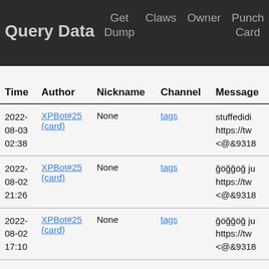Query Data  Get Dump  Claws  Owner  Punch Card  Call Log
| Time | Author | Nickname | Channel | Message |
| --- | --- | --- | --- | --- |
| 2022-08-03 02:38 | XPBot#25 (card) | None | tags | stuffedidi https://tw <@&9318 |
| 2022-08-02 21:26 | XPBot#25 (card) | None | tags | ğöğğöğ ju https://tw <@&9318 |
| 2022-08-02 17:10 | XPBot#25 (card) | None | tags | ğöğğöğ ju https://tw <@&9318 |